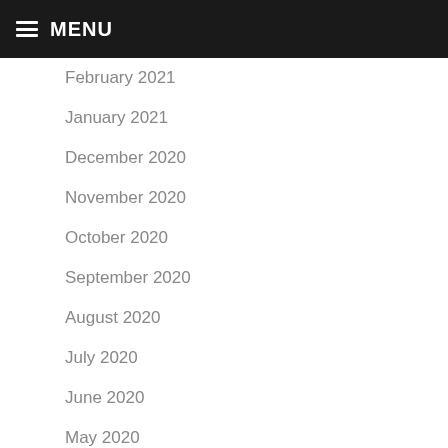MENU
February 2021
January 2021
December 2020
November 2020
October 2020
September 2020
August 2020
July 2020
June 2020
May 2020
April 2020